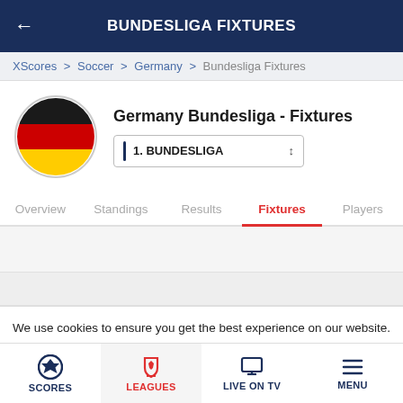BUNDESLIGA FIXTURES
XScores > Soccer > Germany > Bundesliga Fixtures
[Figure (illustration): German flag circular icon — black top stripe, red middle stripe, yellow bottom stripe]
Germany Bundesliga - Fixtures
1. BUNDESLIGA
Overview   Standings   Results   Fixtures   Players
We use cookies to ensure you get the best experience on our website. By accessing and browsing our website you agree to our Cookies Policy
I Agree
Cookies Policy
SCORES   LEAGUES   LIVE ON TV   MENU